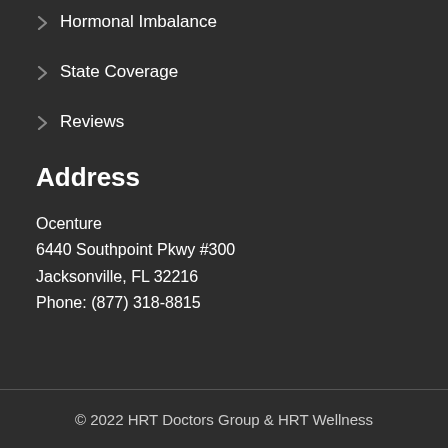Hormonal Imbalance
State Coverage
Reviews
Address
Ocenture
6440 Southpoint Pkwy #300
Jacksonville, FL 32216
Phone: (877) 318-8815
© 2022 HRT Doctors Group & HRT Wellness